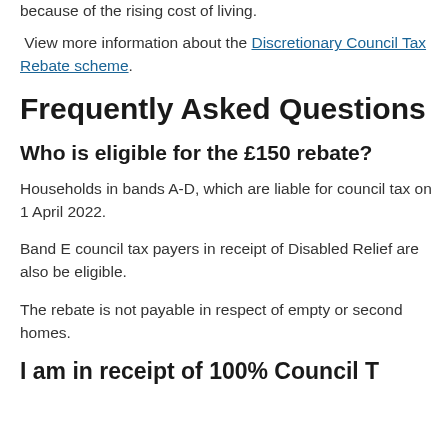because of the rising cost of living.
View more information about the Discretionary Council Tax Rebate scheme.
Frequently Asked Questions
Who is eligible for the £150 rebate?
Households in bands A-D, which are liable for council tax on 1 April 2022.
Band E council tax payers in receipt of Disabled Relief are also be eligible.
The rebate is not payable in respect of empty or second homes.
I am in receipt of 100% Council T…